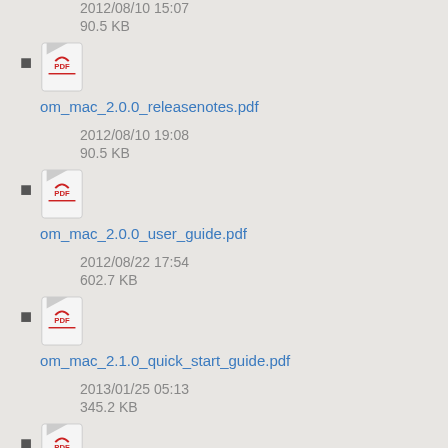2012/08/10 15:07
90.5 KB
om_mac_2.0.0_releasenotes.pdf
2012/08/10 19:08
90.5 KB
om_mac_2.0.0_user_guide.pdf
2012/08/22 17:54
602.7 KB
om_mac_2.1.0_quick_start_guide.pdf
2013/01/25 05:13
345.2 KB